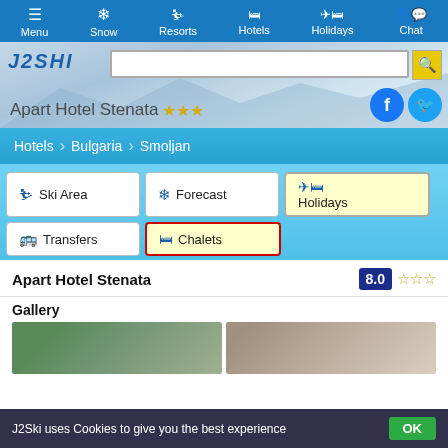Menu | Snow | Resorts | Hotels | Holidays | Chat
Apart Hotel Stenata ★★★
Hotels > Bulgaria > Smoljan
Ski Area
Forecast
Holidays
Transfers
Chalets
Apart Hotel Stenata  8.0 ☆☆☆
Gallery
[Figure (photo): Gallery images of Apart Hotel Stenata]
J2Ski uses Cookies to give you the best experience  OK